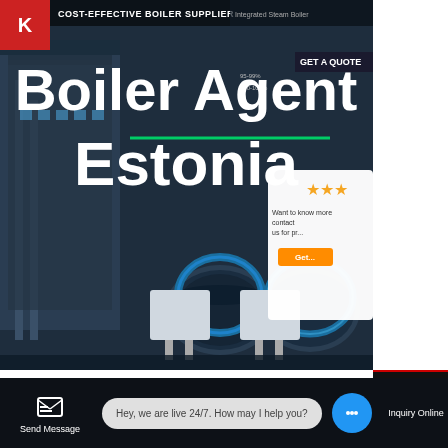[Figure (screenshot): Website screenshot showing a boiler supplier page with dark hero section featuring industrial boiler machinery, title 'Boiler Agent Estonia', navigation bar with 'COST-EFFECTIVE BOILER SUPPLIER', and a GET A QUOTE button]
Boiler Agent Estonia
6 Ton oil fired Boiler Agent Estonia
HOT NEWS
Chat
Email
Contact
Hey, we are live 24/7. How may I help you?
Send Message
Inquiry Online